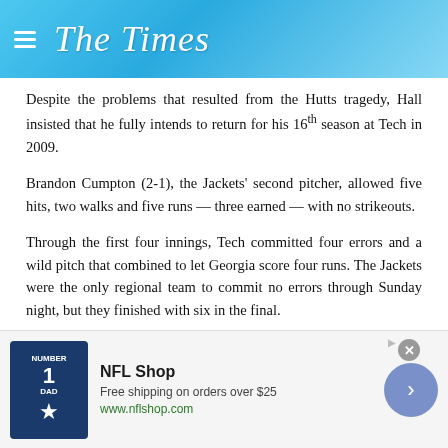The Times
Despite the problems that resulted from the Hutts tragedy, Hall insisted that he fully intends to return for his 16th season at Tech in 2009.
Brandon Cumpton (2-1), the Jackets' second pitcher, allowed five hits, two walks and five runs — three earned — with no strikeouts.
Through the first four innings, Tech committed four errors and a wild pitch that combined to let Georgia score four runs. The Jackets were the only regional team to commit no errors through Sunday night, but they finished with six in the final.
"It seemed like defensively we just fell apart," Hall said. "We didn't play at a championship level tonight. I take full responsibility for that, but you have to give Georgia credit. They really swung the bats."
Olson raised his career average against the Jackets to .496 with 16 R...
[Figure (infographic): NFL Shop advertisement banner with jersey image, 'Free shipping on orders over $25', www.nflshop.com, close button and arrow button]